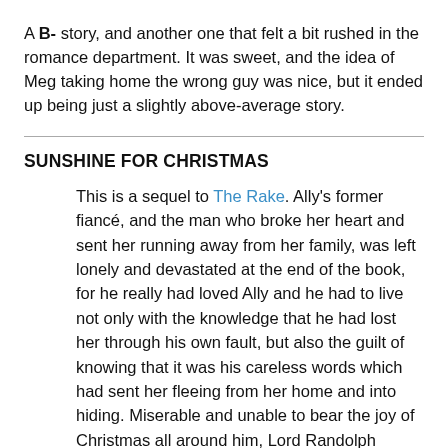A B- story, and another one that felt a bit rushed in the romance department. It was sweet, and the idea of Meg taking home the wrong guy was nice, but it ended up being just a slightly above-average story.
SUNSHINE FOR CHRISTMAS
This is a sequel to The Rake. Ally's former fiancé, and the man who broke her heart and sent her running away from her family, was left lonely and devastated at the end of the book, for he really had loved Ally and he had to live not only with the knowledge that he had lost her through his own fault, but also the guilt of knowing that it was his careless words which had sent her fleeing from her home and into hiding. Miserable and unable to bear the joy of Christmas all around him, Lord Randolph travels to Italy. There, he meets Elizabeth Walker, an unfashionable woman old enough at thirty-something to be considered